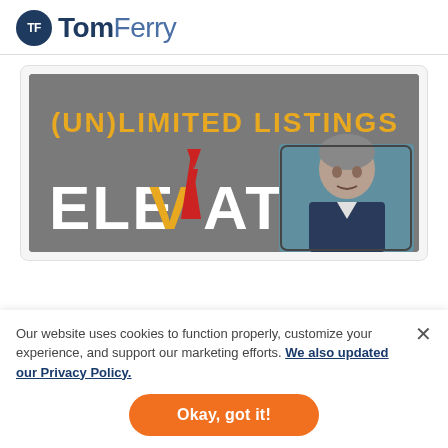[Figure (logo): TomFerry logo with TF initials in dark navy circle and TomFerry wordmark]
[Figure (screenshot): Screenshot of TomFerry Elevate event promotional image showing '(UN)LIMITED LISTINGS' in gold text and 'ELEVATE' in large white letters with a red/gold arrow, alongside a photo of a man in a suit]
Our website uses cookies to function properly, customize your experience, and support our marketing efforts. We also updated our Privacy Policy.
Okay, got it!